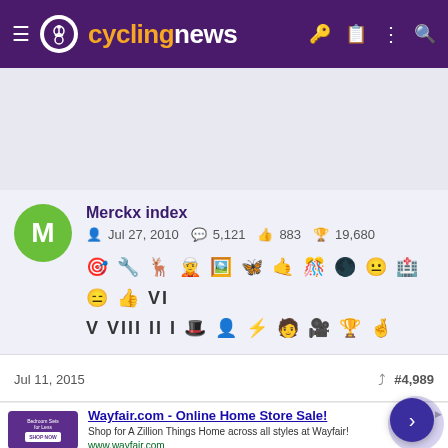cyclingnews
[Figure (screenshot): Gray advertisement placeholder area]
Merckx index
Jul 27, 2010  5,121  883  19,680
[Figure (illustration): Row of badge/achievement icons]
Jul 11, 2015   #4,989
[Figure (screenshot): Wayfair.com advertisement banner: Wayfair.com - Online Home Store Sale! Shop for A Zillion Things Home across all styles at Wayfair! www.wayfair.com]